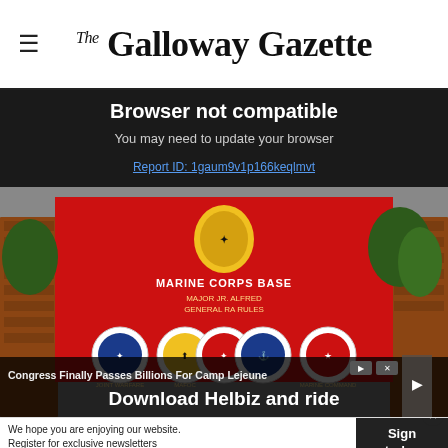The Galloway Gazette
Browser not compatible
You may need to update your browser
Report ID: 1gaum9v1p166keqlmvt
[Figure (photo): Marine Corps Base Camp Lejeune entrance sign on red background with military unit emblems/seals, brick pillars, trees in background]
Download Helbiz and ride
Congress Finally Passes Billions For Camp Lejeune
We hope you are enjoying our website. Register for exclusive newsletters
Sign today